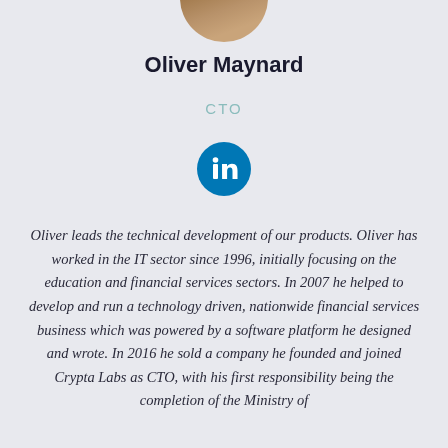[Figure (photo): Partial view of a person's head/photo cropped at the top of the page]
Oliver Maynard
CTO
[Figure (logo): LinkedIn circular blue icon with 'in' logo]
Oliver leads the technical development of our products. Oliver has worked in the IT sector since 1996, initially focusing on the education and financial services sectors. In 2007 he helped to develop and run a technology driven, nationwide financial services business which was powered by a software platform he designed and wrote. In 2016 he sold a company he founded and joined Crypta Labs as CTO, with his first responsibility being the completion of the Ministry of